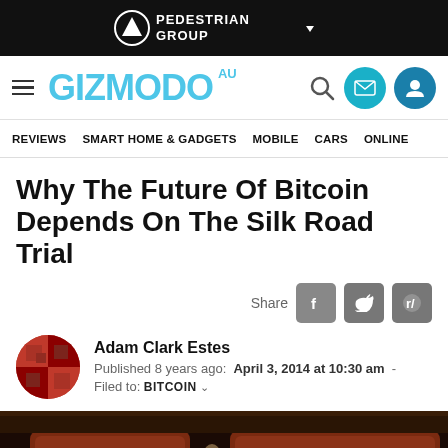[Figure (logo): Pedestrian Group logo in white on black banner]
GIZMODO AU — navigation bar with hamburger menu, search, mail, and user icons
REVIEWS  SMART HOME & GADGETS  MOBILE  CARS  ONLINE
Why The Future Of Bitcoin Depends On The Silk Road Trial
Share
Adam Clark Estes
Published 8 years ago:  April 3, 2014 at 10:30 am
Filed to: BITCOIN
[Figure (photo): Close-up photograph of ornate dark leather chairs with decorative bronze/gold figurine armrest detail]